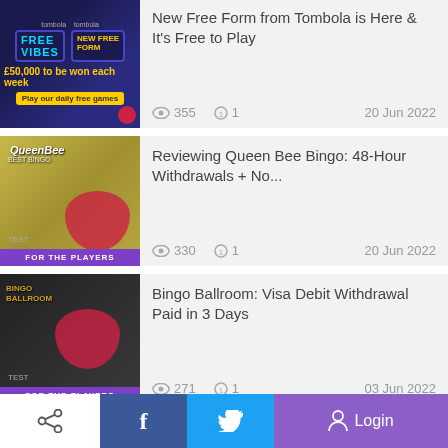[Figure (screenshot): Tombola Free Vibes and Free Form promotional banner thumbnail]
New Free Form from Tombola is Here & It's Free to Play
355 views  1 comment  20 Jun 2022
[Figure (screenshot): Queen Bee Bingo review thumbnail with For The Players badge]
Reviewing Queen Bee Bingo: 48-Hour Withdrawals + No...
330 views  1 comment  20 Jun 2022
[Figure (screenshot): Bingo Ballroom review thumbnail with For The Players badge]
Bingo Ballroom: Visa Debit Withdrawal Paid in 3 Days
271 views  1 comment  03 Jun 2022
Bingo Room Of The Month
June Site of the Month
Share  Facebook  Twitter  Login